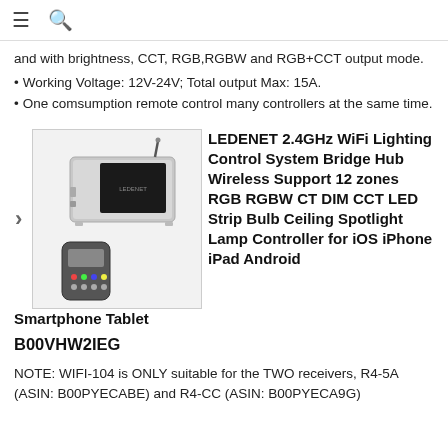≡ 🔍
and with brightness, CCT, RGB,RGBW and RGB+CCT output mode.
• Working Voltage: 12V-24V; Total output Max: 15A.
• One comsumption remote control many controllers at the same time.
[Figure (photo): Photo of LEDENET WiFi lighting control system bridge hub device (silver metal box with antenna) and small remote control]
LEDENET 2.4GHz WiFi Lighting Control System Bridge Hub Wireless Support 12 zones RGB RGBW CT DIM CCT LED Strip Bulb Ceiling Spotlight Lamp Controller for iOS iPhone iPad Android Smartphone Tablet
B00VHW2IEG
NOTE: WIFI-104 is ONLY suitable for the TWO receivers, R4-5A (ASIN: B00PYECABE) and R4-CC (ASIN: B00PYECA9G)